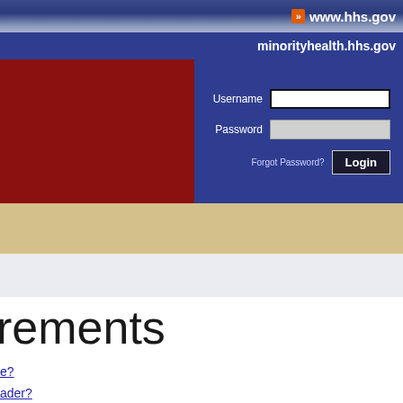www.hhs.gov
minorityhealth.hhs.gov
[Figure (screenshot): Login form with Username and Password fields and Login button on a dark blue background, overlaid on a dark red banner area]
rements
e?
ader?